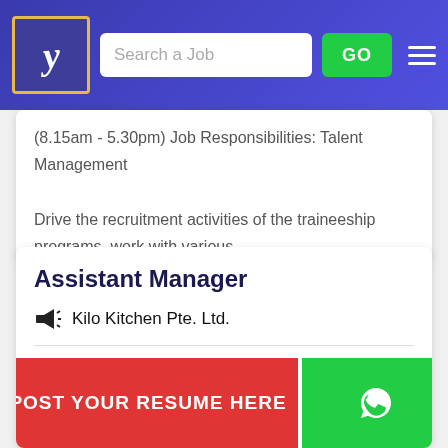[Figure (screenshot): Website header/navigation bar with logo (stylized Y), search bar labeled 'Search a Job', green GO button, and hamburger menu icon on blue/purple gradient background]
(8.15am - 5.30pm) Job Responsibilities: Talent Management

Drive the recruitment activities of the traineeship programs, work with various...
Assistant Manager
Kilo Kitchen Pte. Ltd.
Location : Null
State :
Industry : Computers / IT
Assistant Manager!Here are some duties you will carry out:This is
POST YOUR RESUME HERE